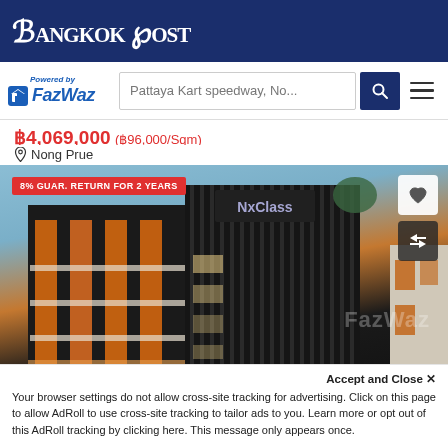Bangkok Post
[Figure (logo): FazWaz logo with 'Powered by' label, search box with text 'Pattaya Kart speedway, No...', search button, and hamburger menu]
฿4,069,000 (฿96,000/Sqm)
Nong Prue
[Figure (photo): Modern multi-story commercial/residential building with orange and black facade, illuminated at dusk. Badge overlay: '8% GUAR. RETURN FOR 2 YEARS'. Heart icon and compare arrows icon on the right. FazWaz watermark at bottom right.]
Accept and Close ✕
Your browser settings do not allow cross-site tracking for advertising. Click on this page to allow AdRoll to use cross-site tracking to tailor ads to you. Learn more or opt out of this AdRoll tracking by clicking here. This message only appears once.